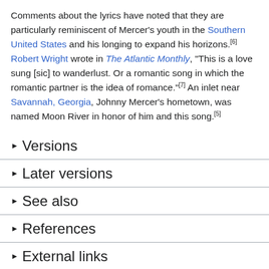Comments about the lyrics have noted that they are particularly reminiscent of Mercer's youth in the Southern United States and his longing to expand his horizons.[6] Robert Wright wrote in The Atlantic Monthly, "This is a love sung [sic] to wanderlust. Or a romantic song in which the romantic partner is the idea of romance."[7] An inlet near Savannah, Georgia, Johnny Mercer's hometown, was named Moon River in honor of him and this song.[5]
Versions
Later versions
See also
References
External links